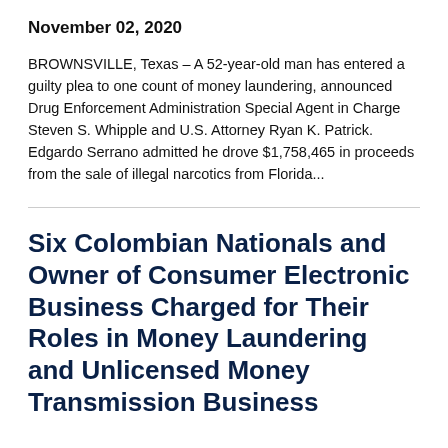November 02, 2020
BROWNSVILLE, Texas – A 52-year-old man has entered a guilty plea to one count of money laundering, announced Drug Enforcement Administration Special Agent in Charge Steven S. Whipple and U.S. Attorney Ryan K. Patrick. Edgardo Serrano admitted he drove $1,758,465 in proceeds from the sale of illegal narcotics from Florida...
Six Colombian Nationals and Owner of Consumer Electronic Business Charged for Their Roles in Money Laundering and Unlicensed Money Transmission Business